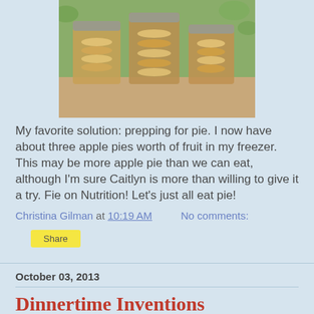[Figure (photo): Four mason jars filled with sliced apples in syrup/sauce, sitting on a wooden surface with green trees in the background.]
My favorite solution: prepping for pie. I now have about three apple pies worth of fruit in my freezer. This may be more apple pie than we can eat, although I'm sure Caitlyn is more than willing to give it a try. Fie on Nutrition! Let's just all eat pie!
Christina Gilman at 10:19 AM    No comments:
Share
October 03, 2013
Dinnertime Inventions